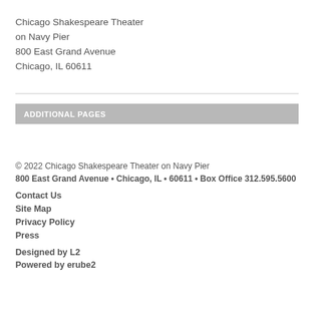Chicago Shakespeare Theater
on Navy Pier
800 East Grand Avenue
Chicago, IL 60611
ADDITIONAL PAGES
© 2022 Chicago Shakespeare Theater on Navy Pier
800 East Grand Avenue • Chicago, IL • 60611 • Box Office 312.595.5600
Contact Us
Site Map
Privacy Policy
Press
Designed by L2
Powered by erube2